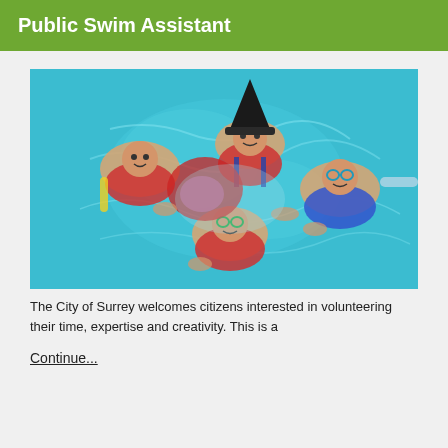Public Swim Assistant
[Figure (photo): Aerial view of four children swimming in a pool, wearing life jackets and goggles. One child is wearing a witch hat. The water is bright blue/teal.]
The City of Surrey welcomes citizens interested in volunteering their time, expertise and creativity. This is a
Continue...